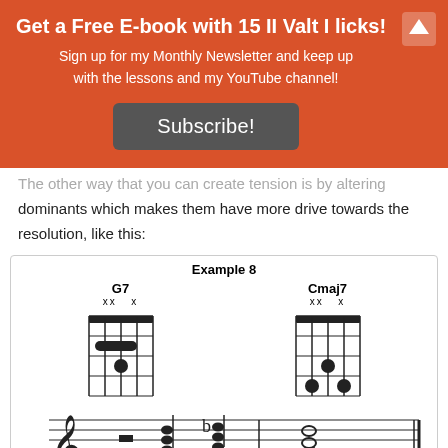Get a Free E-book with 15 II Valt I licks!
Sign up for my Monthly Newsletter and keep up with the lessons and my YouTube channel!
Subscribe!
The other way that you can create tension is by altering dominants which makes them have more drive towards the resolution, like this:
[Figure (illustration): Music notation example labeled 'Example 8' showing two guitar chord diagrams (G7 and Cmaj7) with fretboard grids, a treble clef staff with chord notation, and a TAB staff below with numbers 3/4/3, 4/4/3, and 5/4/5.]